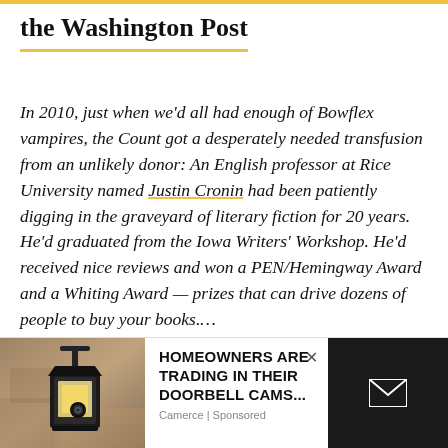the Washington Post
In 2010, just when we'd all had enough of Bowflex vampires, the Count got a desperately needed transfusion from an unlikely donor: An English professor at Rice University named Justin Cronin had been patiently digging in the graveyard of literary fiction for 20 years. He'd graduated from the Iowa Writers' Workshop. He'd received nice reviews and won a PEN/Hemingway Award and a Whiting Award — prizes that can drive dozens of people to buy your books….
[Figure (photo): Outdoor wall lantern/light fixture mounted on stone wall]
HOMEOWNERS ARE TRADING IN THEIR DOORBELL CAMS...
Camerce | Sponsored